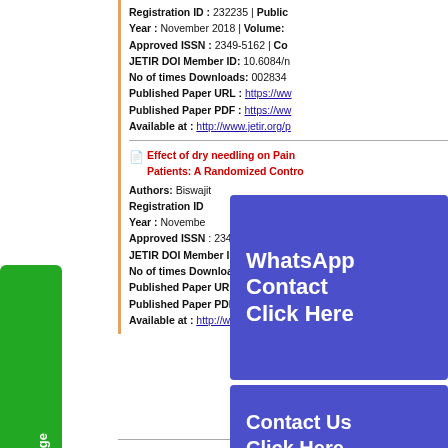Registration ID : 232235 | Public
Year : November 2018 | Volume:
Approved ISSN : 2349-5162 | Co
JETIR DOI Member ID: 10.6084/m
No of times Downloads: 002834
Published Paper URL : https://ww
Published Paper PDF : https://ww
Available at : http://www.jetir.org/p
[Figure (other): WhatsApp Contact Click Here blue overlay button]
Effect of dry needling on Pain in Patients: A Randomized Control
Authors: Biswajit
Registration ID
Year : November
Approved ISSN : 2349-5162 | Co
JETIR DOI Member ID: 10.6084/m
No of times Downloads: 002858
Published Paper URL : https://ww
Published Paper PDF : https://ww
Available at : http://www.jetir.org/p
[Figure (other): Contact Us Click Here blue overlay button]
[Figure (other): Green Message button on left side]